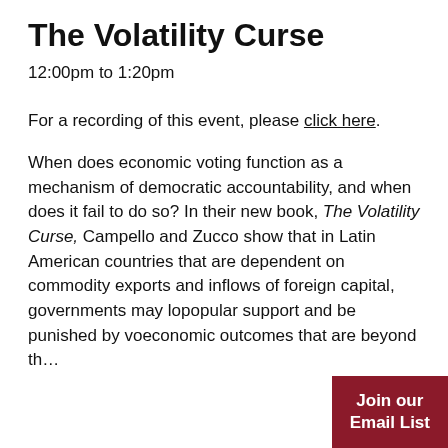The Volatility Curse
12:00pm to 1:20pm
For a recording of this event, please click here.
When does economic voting function as a mechanism of democratic accountability, and when does it fail to do so? In their new book, The Volatility Curse, Campello and Zucco show that in Latin American countries that are dependent on commodity exports and inflows of foreign capital, governments may lo… popular support and be punished by vo… economic outcomes that are beyond th…
Join our Email List